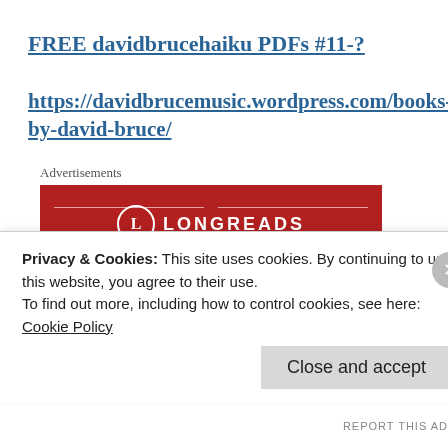FREE davidbrucehaiku PDFs #11-?
https://davidbrucemusic.wordpress.com/books-by-david-bruce/
Advertisements
[Figure (other): Longreads advertisement banner with red background showing the Longreads logo and tagline 'The best stories on the web — ours, and']
Privacy & Cookies: This site uses cookies. By continuing to use this website, you agree to their use.
To find out more, including how to control cookies, see here:
Cookie Policy
Close and accept